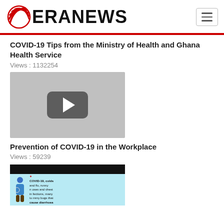ERANEWS
COVID-19 Tips from the Ministry of Health and Ghana Health Service
Views : 1132254
[Figure (screenshot): Video thumbnail with play button on grey background]
Prevention of COVID-19 in the Workplace
Views : 59239
[Figure (screenshot): Thumbnail with black header bar and COVID-19 health infographic showing a person with text about COVID-19, colds and flu, runny noses and chest infections, many tummy bugs that cause diarrhoea]